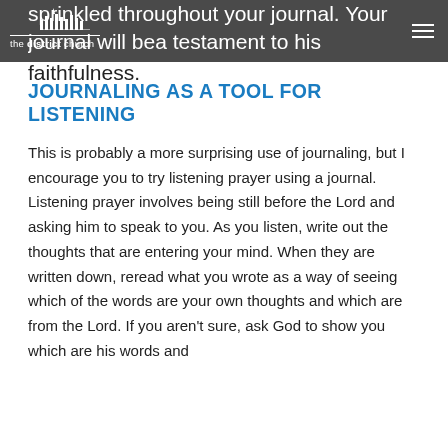the district church
sprinkled throughout your journal. Your journal will be a testament to his faithfulness.
JOURNALING AS A TOOL FOR LISTENING
This is probably a more surprising use of journaling, but I encourage you to try listening prayer using a journal. Listening prayer involves being still before the Lord and asking him to speak to you. As you listen, write out the thoughts that are entering your mind. When they are written down, reread what you wrote as a way of seeing which of the words are your own thoughts and which are from the Lord. If you aren't sure, ask God to show you which are his words and